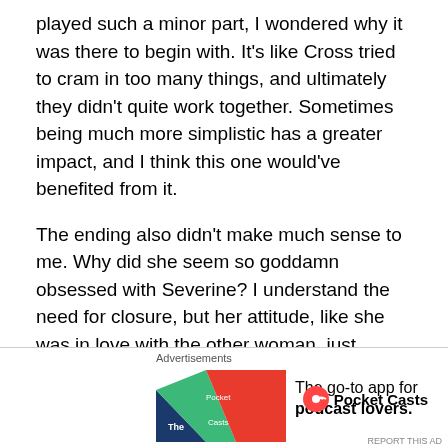played such a minor part, I wondered why it was there to begin with. It's like Cross tried to cram in too many things, and ultimately they didn't quite work together. Sometimes being much more simplistic has a greater impact, and I think this one would've benefited from it.
The ending also didn't make much sense to me. Why did she seem so goddamn obsessed with Severine? I understand the need for closure, but her attitude, like she was in love with the other woman, just seemed so out of character.
Advertisements
The go-to app
[Figure (infographic): Bottom advertisement bar showing Pocket Casts app ad with logo, tagline 'The go-to app for podcast lovers.' and Pocket Casts branding with circular logo icon]
Advertisements
The go-to app for podcast lovers.
Pocket Casts